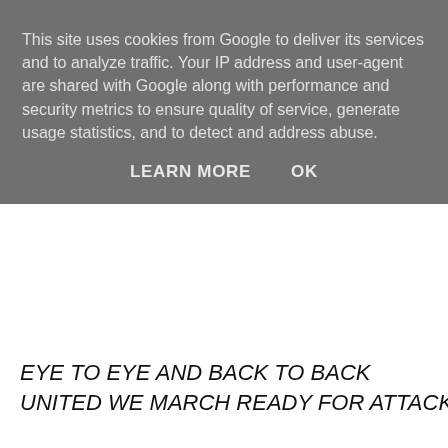This site uses cookies from Google to deliver its services and to analyze traffic. Your IP address and user-agent are shared with Google along with performance and security metrics to ensure quality of service, generate usage statistics, and to detect and address abuse.
LEARN MORE   OK
EYE TO EYE AND BACK TO BACK
UNITED WE MARCH READY FOR ATTACK
Malcom the second
called us to arms
Fearless we fought
Till the final breath
Fires burned high
As we forged a kingdom
Triumph he brought
Forever dominion
ALL ALL FOR THE KINGDOM
TOGETHER WE FALL AND FOREVER WE STAND
ALL ALL FOR THE KINGDOM